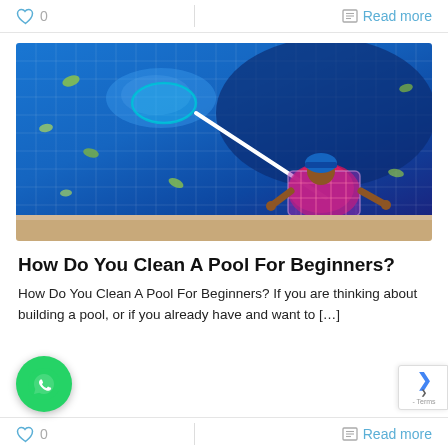❤ 0    Read more
[Figure (photo): Person cleaning a swimming pool with a long-handled net skimmer. The pool has bright blue water with a tile grid pattern visible underneath. Green leaves are floating in the water. The person is wearing a plaid shirt and blue cap and is standing at the pool edge.]
How Do You Clean A Pool For Beginners?
How Do You Clean A Pool For Beginners? If you are thinking about building a pool, or if you already have and want to […]
❤ 0    Read more